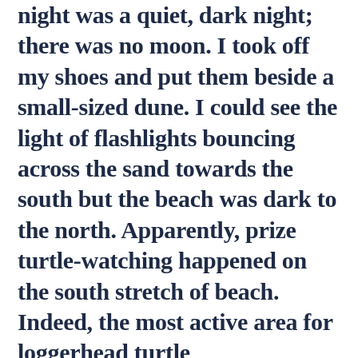night was a quiet, dark night; there was no moon.  I took off my shoes and put them beside a small-sized dune.  I could see the light of flashlights bouncing across the sand towards the south  but the beach  was dark to the north.  Apparently, prize turtle-watching happened on the south stretch of beach.  Indeed, the most active area for loggerhead turtle